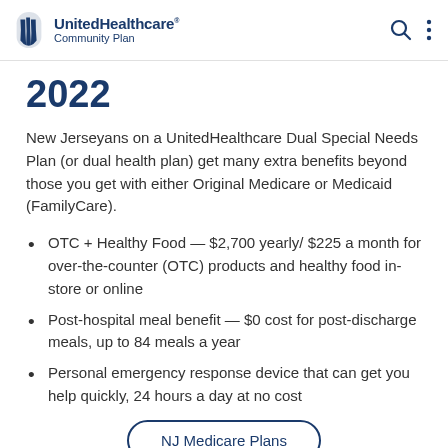UnitedHealthcare Community Plan
2022
New Jerseyans on a UnitedHealthcare Dual Special Needs Plan (or dual health plan) get many extra benefits beyond those you get with either Original Medicare or Medicaid (FamilyCare).
OTC + Healthy Food — $2,700 yearly/ $225 a month for over-the-counter (OTC) products and healthy food in-store or online
Post-hospital meal benefit — $0 cost for post-discharge meals, up to 84 meals a year
Personal emergency response device that can get you help quickly, 24 hours a day at no cost
NJ Medicare Plans